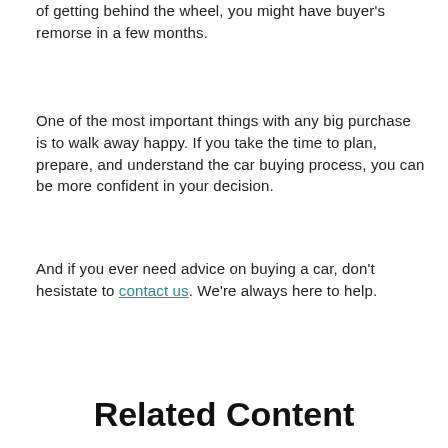of getting behind the wheel, you might have buyer's remorse in a few months.
One of the most important things with any big purchase is to walk away happy. If you take the time to plan, prepare, and understand the car buying process, you can be more confident in your decision.
And if you ever need advice on buying a car, don't hesistate to contact us. We're always here to help.
Related Content